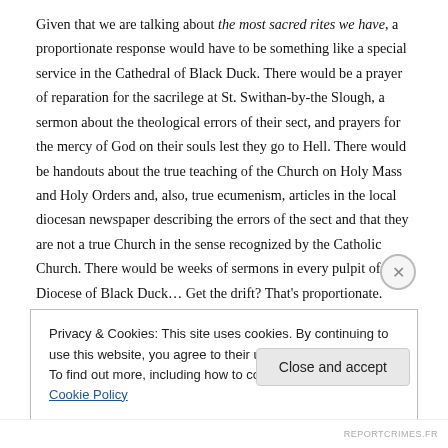Given that we are talking about the most sacred rites we have, a proportionate response would have to be something like a special service in the Cathedral of Black Duck. There would be a prayer of reparation for the sacrilege at St. Swithan-by-the Slough, a sermon about the theological errors of their sect, and prayers for the mercy of God on their souls lest they go to Hell. There would be handouts about the true teaching of the Church on Holy Mass and Holy Orders and, also, true ecumenism, articles in the local diocesan newspaper describing the errors of the sect and that they are not a true Church in the sense recognized by the Catholic Church. There would be weeks of sermons in every pulpit of the Diocese of Black Duck… Get the drift? That's proportionate.
Privacy & Cookies: This site uses cookies. By continuing to use this website, you agree to their use. To find out more, including how to control cookies, see here: Cookie Policy